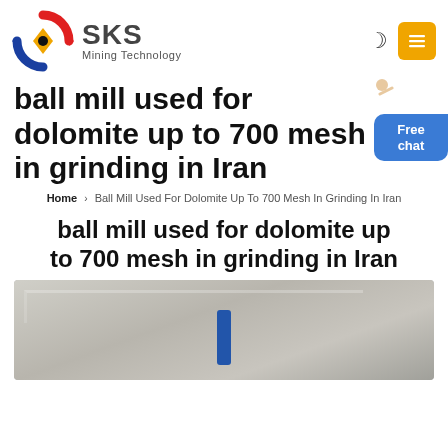[Figure (logo): SKS Mining Technology logo with circular red/blue/yellow emblem and grey SKS text]
ball mill used for dolomite up to 700 mesh in grinding in Iran
Home › Ball Mill Used For Dolomite Up To 700 Mesh In Grinding In Iran
ball mill used for dolomite up to 700 mesh in grinding in Iran
[Figure (photo): Industrial ball mill machinery, close-up photo with blue pipe visible]